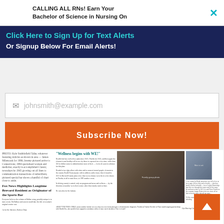CALLING ALL RNs! Earn Your Bachelor of Science in Nursing On
Click Here to Sign Up for Text Alerts
Or Signup Below For Email Alerts!
johnsmith@example.com
Subscribe Now!
[Figure (screenshot): Newspaper page preview showing articles including 'Fox News Highlights Longtime Brevard Resident as Originator of the Sports Bar' and 'CALLING ALL RNs! Earn Your Bachelor of Science in Nursing On Your Terms at Eastern Florida State' with photos of people and a man in a suit]
[Figure (other): Orange back-to-top button with white upward arrow]